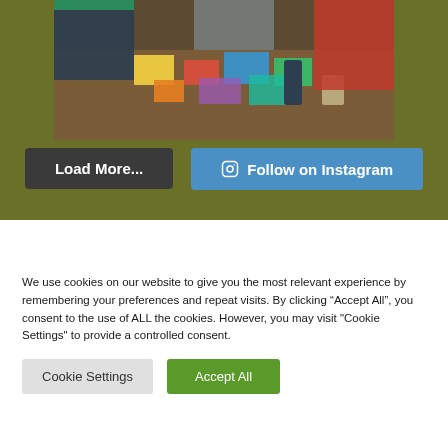[Figure (photo): Photo of people around a table with colorful craft materials, papers, and art supplies spread out on a wooden table surface.]
Load More...
Follow on Instagram
We use cookies on our website to give you the most relevant experience by remembering your preferences and repeat visits. By clicking “Accept All”, you consent to the use of ALL the cookies. However, you may visit "Cookie Settings" to provide a controlled consent.
Cookie Settings
Accept All